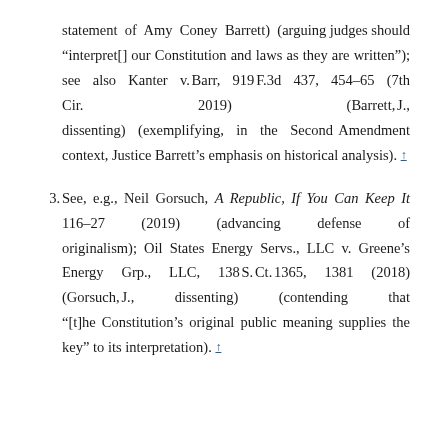statement of Amy Coney Barrett) (arguing judges should “interpret[] our Constitution and laws as they are written”); see also Kanter v. Barr, 919 F.3d 437, 454–65 (7th Cir. 2019) (Barrett, J., dissenting) (exemplifying, in the Second Amendment context, Justice Barrett’s emphasis on historical analysis). ↑
3. See, e.g., Neil Gorsuch, A Republic, If You Can Keep It 116–27 (2019) (advancing defense of originalism); Oil States Energy Servs., LLC v. Greene’s Energy Grp., LLC, 138 S. Ct. 1365, 1381 (2018) (Gorsuch, J., dissenting) (contending that “[t]he Constitution’s original public meaning supplies the key” to its interpretation). ↑